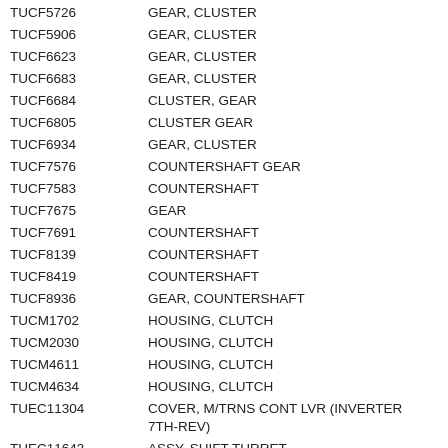| Part Number | Description |
| --- | --- |
| TUCF5726 | GEAR, CLUSTER |
| TUCF5906 | GEAR, CLUSTER |
| TUCF6623 | GEAR, CLUSTER |
| TUCF6683 | GEAR, CLUSTER |
| TUCF6684 | CLUSTER, GEAR |
| TUCF6805 | CLUSTER GEAR |
| TUCF6934 | GEAR, CLUSTER |
| TUCF7576 | COUNTERSHAFT GEAR |
| TUCF7583 | COUNTERSHAFT |
| TUCF7675 | GEAR |
| TUCF7691 | COUNTERSHAFT |
| TUCF8139 | COUNTERSHAFT |
| TUCF8419 | COUNTERSHAFT |
| TUCF8936 | GEAR, COUNTERSHAFT |
| TUCM1702 | HOUSING, CLUTCH |
| TUCM2030 | HOUSING, CLUTCH |
| TUCM4611 | HOUSING, CLUTCH |
| TUCM4634 | HOUSING, CLUTCH |
| TUEC11304 | COVER, M/TRNS CONT LVR (INVERTER 7TH-REV) |
| TUEC11643 | ASSY, SHIFT TURRET |
| TUEC11781 | REVERSE IDLER COVER |
| TUEC12197 | ASSY, SHIFT SELECTOR |
| TUEC12319 | ASSY, REAR OFFSET |